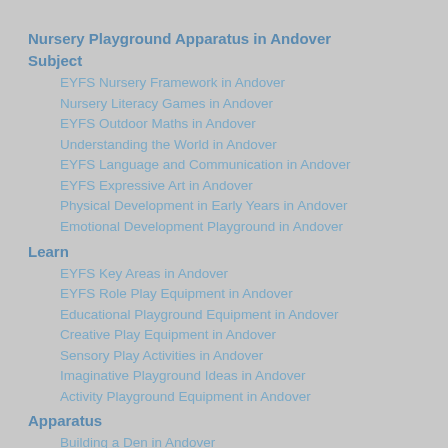Nursery Playground Apparatus in Andover
Subject
EYFS Nursery Framework in Andover
Nursery Literacy Games in Andover
EYFS Outdoor Maths in Andover
Understanding the World in Andover
EYFS Language and Communication in Andover
EYFS Expressive Art in Andover
Physical Development in Early Years in Andover
Emotional Development Playground in Andover
Learn
EYFS Key Areas in Andover
EYFS Role Play Equipment in Andover
Educational Playground Equipment in Andover
Creative Play Equipment in Andover
Sensory Play Activities in Andover
Imaginative Playground Ideas in Andover
Activity Playground Equipment in Andover
Apparatus
Building a Den in Andover
Kid's Sandpits in Andover